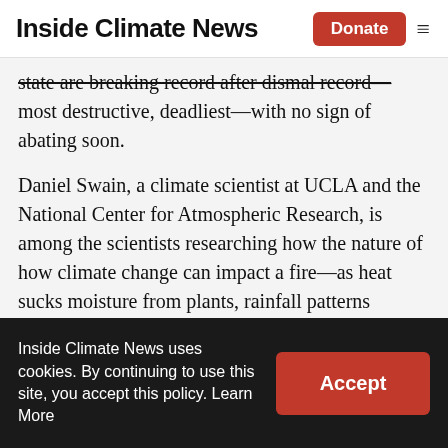Inside Climate News | Donate
state are breaking record after dismal record—most destructive, deadliest—with no sign of abating soon.
Daniel Swain, a climate scientist at UCLA and the National Center for Atmospheric Research, is among the scientists researching how the nature of how climate change can impact a fire—as heat sucks moisture from plants, rainfall patterns change, and winds drive fires in new ways.
As firefighters struggle to gain control of the three wildfires devastating California,
Inside Climate News uses cookies. By continuing to use this site, you accept this policy. Learn More | Accept